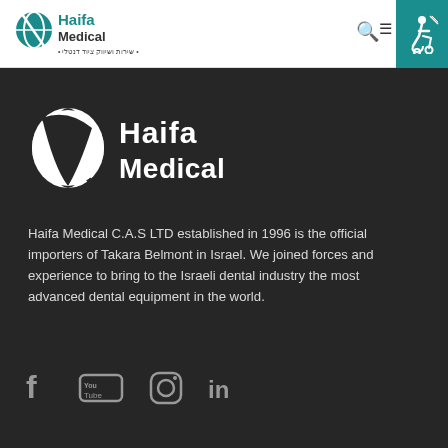Haifa Medical
[Figure (logo): Haifa Medical logo — large white text with stylized tooth/globe icon on dark background]
Haifa Medical C.A.S LTD established in 1996 is the official importers of Takara Belmont in Israel. We joined forces and experience to bring to the Israeli dental industry the most advanced dental equipment in the world.
[Figure (infographic): Social media icons row: Facebook, YouTube, Instagram, LinkedIn]